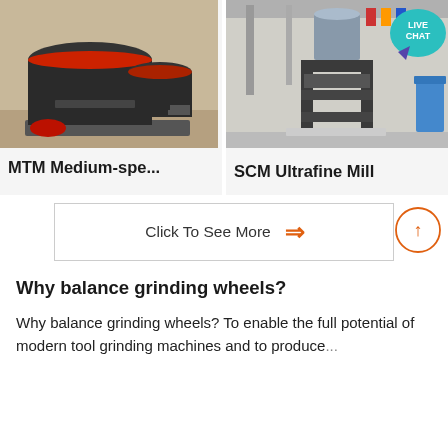[Figure (photo): MTM medium-speed grinding mill machine, large dark industrial machine with red accents on a pallet in a factory]
MTM Medium-spe...
[Figure (photo): SCM Ultrafine Mill machine, dark industrial press/mill equipment displayed in a large factory hall, with a LIVE CHAT badge overlay]
SCM Ultrafine Mill
Click To See More
Why balance grinding wheels?
Why balance grinding wheels? To enable the full potential of modern tool grinding machines and to produce...